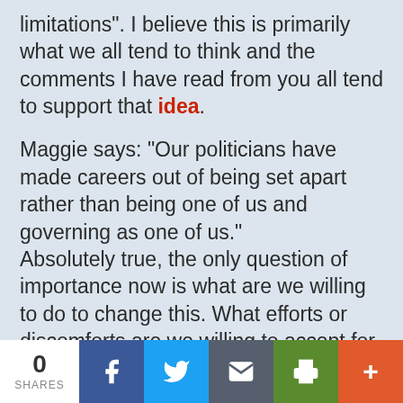limitations". I believe this is primarily what we all tend to think and the comments I have read from you all tend to support that idea.
Maggie says: “Our politicians have made careers out of being set apart rather than being one of us and governing as one of us.” Absolutely true, the only question of importance now is what are we willing to do to change this. What efforts or discomforts are we willing to accept for a restoration of the government and the
0 SHARES